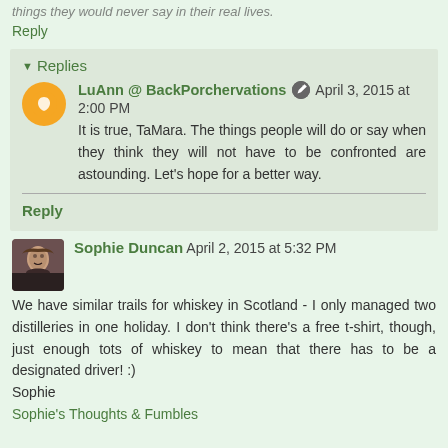things they would never say in their real lives.
Reply
Replies
LuAnn @ BackPorchervations  April 3, 2015 at 2:00 PM
It is true, TaMara. The things people will do or say when they think they will not have to be confronted are astounding. Let's hope for a better way.
Reply
Sophie Duncan  April 2, 2015 at 5:32 PM
We have similar trails for whiskey in Scotland - I only managed two distilleries in one holiday. I don't think there's a free t-shirt, though, just enough tots of whiskey to mean that there has to be a designated driver! :)
Sophie
Sophie's Thoughts & Fumbles